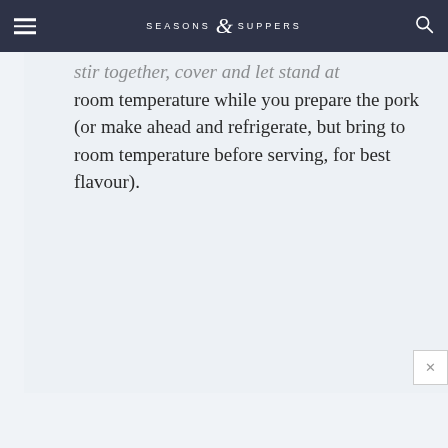SEASONS & SUPPERS
stir together, cover and let stand at room temperature while you prepare the pork (or make ahead and refrigerate, but bring to room temperature before serving, for best flavour).